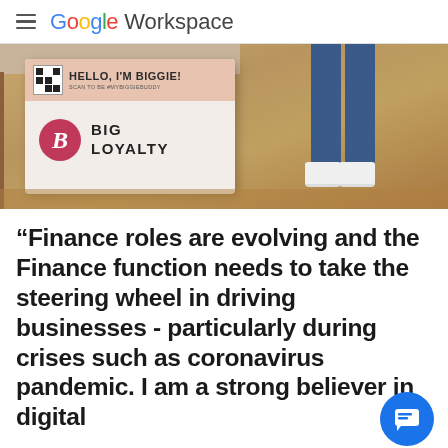Google Workspace
[Figure (photo): Photo of a Big Loyalty branded white box/kiosk on a tan cork floor. The box displays 'HELLO, I'M BIGGIE! SCAN TO BE #MYBIGGIEBUDDY' with a QR code and the Big Loyalty logo (pink circle with stylized B). Person's legs in jeans and white sneakers visible in background.]
“Finance roles are evolving and the Finance function needs to take the steering wheel in driving businesses - particularly during crises such as coronavirus pandemic. I am a strong believer in digital